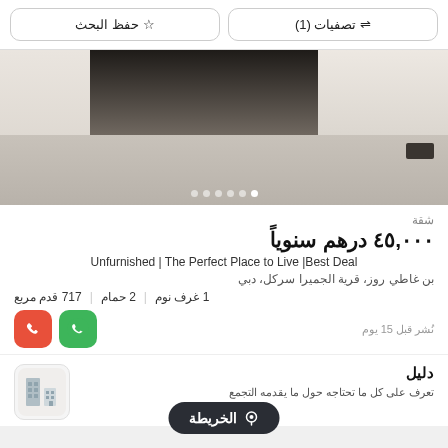تصفيات (1)  |  حفظ البحث
[Figure (photo): Interior photo of an empty unfurnished apartment corridor/hallway with beige/grey tiled floor and white walls, showing image carousel dots at the bottom]
شقة
٤٥,٠٠٠ درهم سنوياً
Unfurnished | The Perfect Place to Live |Best Deal
بن غاطي روز، قرية الجميرا سركل، دبي
1 غرف نوم  |  2 حمام  |  717 قدم مربع
نُشر قبل 15 يوم
دليل
تعرف على كل ما تحتاجه حول ما يقدمه التجمع